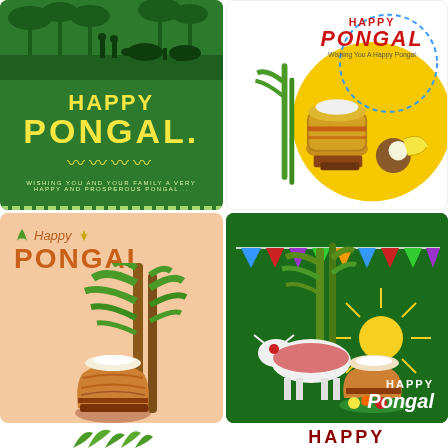[Figure (illustration): Green Pongal greeting card with silhouette of farmers and cattle at top, yellow text HAPPY PONGAL in center, decorative wave, small text below, dashed border top and bottom]
[Figure (illustration): White/yellow background Pongal card with circular yellow moon, decorative pot with rice overflowing, coconut, banana, sugarcane, red text HAPPY PONGAL at top, wishing text below]
[Figure (illustration): Peach/beige background card with orange Happy PONGAL text top-left, tall sugarcane stalks and terracotta pot with rice in center-right]
[Figure (illustration): Dark green background Pongal card with colorful triangle bunting flags, sugarcane, white cow/bull with decorated pot, sun rays, HAPPY Pongal text bottom right]
[Figure (illustration): Bottom partial view showing green sugarcane leaves on left and partial HAPPY text in dark red on right]